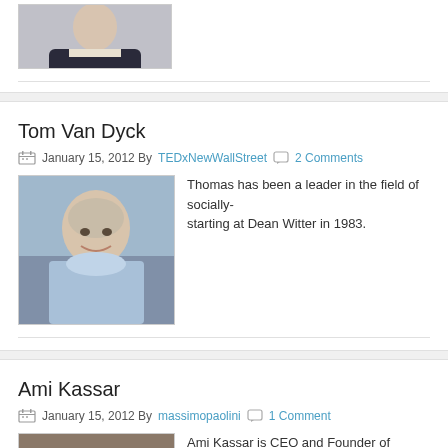[Figure (photo): Top portion of a person's headshot photo (cropped), wearing a dark suit]
Tom Van Dyck
January 15, 2012 By TEDxNewWallStreet  2 Comments
[Figure (photo): Photo of Tom Van Dyck, a middle-aged man with grey hair wearing a light blue shirt, smiling]
Thomas has been a leader in the field of socially- starting at Dean Witter in 1983.
Ami Kassar
January 15, 2012 By massimopaolini  1 Comment
[Figure (photo): Partial photo of Ami Kassar (cropped at bottom of page)]
Ami Kassar is CEO and Founder of MultiFunding